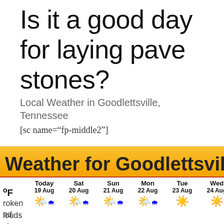Is it a good day for laying pave stones?
Local Weather in Goodlettsville, Tennessee
[sc name="fp-middle2"]
[Figure (screenshot): Weather widget showing forecast for Goodlettsville. Header: 'Weather for Goodlettsville'. Day columns: Today 19 Aug, Sat 20 Aug, Sun 21 Aug, Mon 22 Aug, Tue 23 Aug, Wed 24 Aug, Thu 25 Aug, Fri 26. Weather icons shown below dates. Left side shows °F unit label. Partial text visible at bottom: 'nd', 'sing', 'roken', 'louds'.]